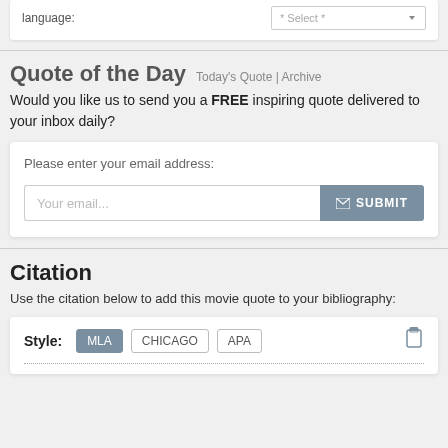[Figure (screenshot): Top of page showing a form field labeled 'language:' with a Select dropdown]
Quote of the Day
Today's Quote | Archive
Would you like us to send you a FREE inspiring quote delivered to your inbox daily?
Please enter your email address:
Your email...
SUBMIT
Citation
Use the citation below to add this movie quote to your bibliography:
Style: MLA CHICAGO APA